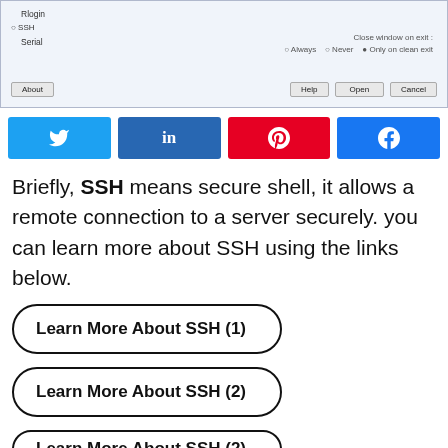[Figure (screenshot): Partial screenshot of a terminal/SSH client configuration dialog with session type options (Rlogin, SSH, Serial), Close window on exit radio buttons (Always, Never, Only on clean exit), and buttons: About, Help, Open, Cancel.]
[Figure (infographic): Social sharing buttons: Twitter (blue), LinkedIn (dark blue), Pinterest (red), Facebook (blue) with respective icons.]
Briefly, SSH means secure shell, it allows a remote connection to a server securely. you can learn more about SSH using the links below.
Learn More About SSH (1)
Learn More About SSH (2)
Learn More About SSH (2)